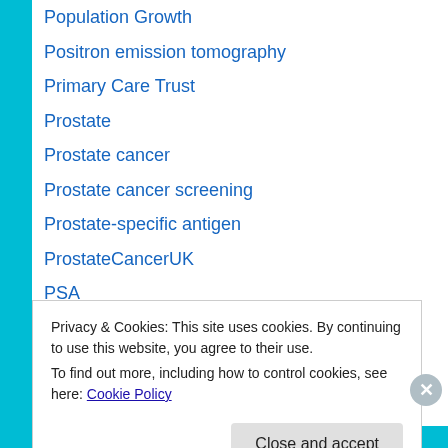Population Growth
Positron emission tomography
Primary Care Trust
Prostate
Prostate cancer
Prostate cancer screening
Prostate-specific antigen
ProstateCancerUK
PSA
Purple Scorpion
QUANGO
QUANGOs
Privacy & Cookies: This site uses cookies. By continuing to use this website, you agree to their use.
To find out more, including how to control cookies, see here: Cookie Policy